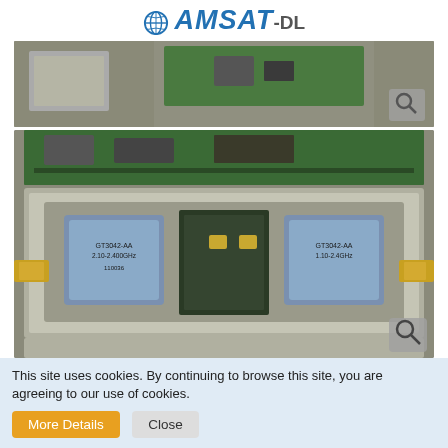AMSAT-DL
[Figure (photo): Top partial photo of an electronic circuit board with components visible, metallic enclosure]
[Figure (photo): Main photo of an S-band amplifier module showing internal components including two bandpass filters labeled GT3042-AA 2.10-2.400GHz in a metallic shielded enclosure with SMA connectors]
I have a very good S band amplifier.FLL177 has 30 db output in 2.4 G.I think FLL357 should also have 30 db
This site uses cookies. By continuing to browse this site, you are agreeing to our use of cookies.